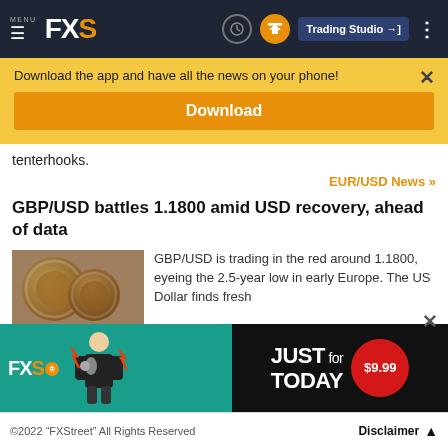FXS — Trading Studio
Download the app and have all the news on your phone!
Download
tenterhooks.
EUR/USD News »
GBP/USD battles 1.1800 amid USD recovery, ahead of data
[Figure (photo): Close-up photo of British pound coins]
GBP/USD is trading in the red around 1.1800, eyeing the 2.5-year low in early Europe. The US Dollar finds fresh...
[Figure (infographic): FXS promotional ad: JUST for TODAY $9.99]
©2022 "FXStreet" All Rights Reserved   Disclaimer ▲